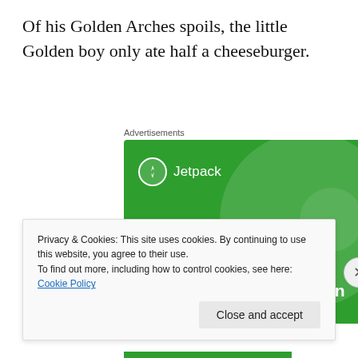Of his Golden Arches spoils, the little Golden boy only ate half a cheeseburger.
Advertisements
[Figure (illustration): Jetpack advertisement banner with green background showing logo and text: 'The best real-time WordPress backup plugin']
Privacy & Cookies: This site uses cookies. By continuing to use this website, you agree to their use.
To find out more, including how to control cookies, see here: Cookie Policy
Close and accept